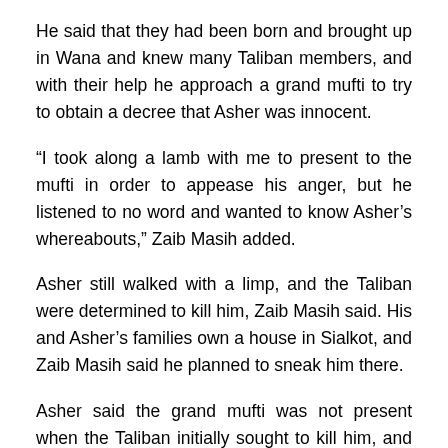He said that they had been born and brought up in Wana and knew many Taliban members, and with their help he approach a grand mufti to try to obtain a decree that Asher was innocent.
“I took along a lamb with me to present to the mufti in order to appease his anger, but he listened to no word and wanted to know Asher’s whereabouts,” Zaib Masih added.
Asher still walked with a limp, and the Taliban were determined to kill him, Zaib Masih said. His and Asher’s families own a house in Sialkot, and Zaib Masih said he planned to sneak him there.
Asher said the grand mufti was not present when the Taliban initially sought to kill him, and that therefore no fatwa was issued ordering his death.